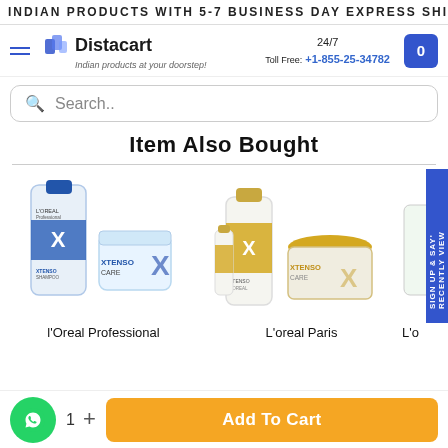INDIAN PRODUCTS WITH 5-7 BUSINESS DAY EXPRESS SHIPPING
Distacart — Indian products at your doorstep! | 24/7 Toll Free: +1-855-25-34782
Item Also Bought
[Figure (photo): L'Oreal Professional Xtenso Care shampoo bottle and cream jar — blue and white packaging]
[Figure (photo): L'Oreal Paris Xtenso Care products — gold and white bottles and jar]
l'Oreal Professional
L'oreal Paris
L'o
1  +
Add To Cart